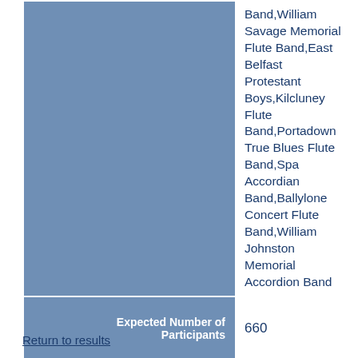|  |  |
| --- | --- |
|  | Band,William Savage Memorial Flute Band,East Belfast Protestant Boys,Kilcluney Flute Band,Portadown True Blues Flute Band,Spa Accordian Band,Ballylone Concert Flute Band,William Johnston Memorial Accordion Band |
| Expected Number of Participants | 660 |
| Expected Number of Supporters | 500 |
Return to results